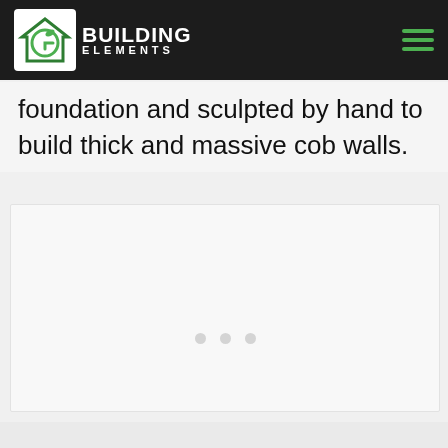BUILDING ELEMENTS
foundation and sculpted by hand to build thick and massive cob walls.
[Figure (photo): Image placeholder with three dots indicating a loading or empty image carousel/slideshow for a cob wall construction photo.]